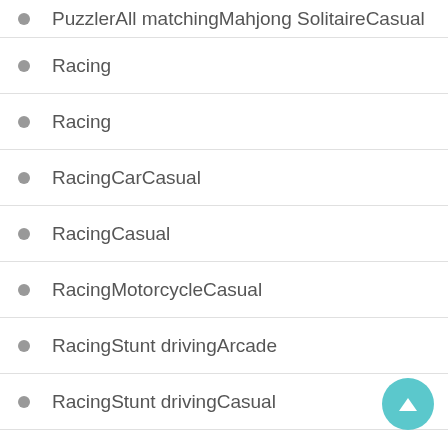PuzzlerAll matchingMahjong SolitaireCasual
Racing
Racing
RacingCarCasual
RacingCasual
RacingMotorcycleCasual
RacingStunt drivingArcade
RacingStunt drivingCasual
Role Playing
Role Playing